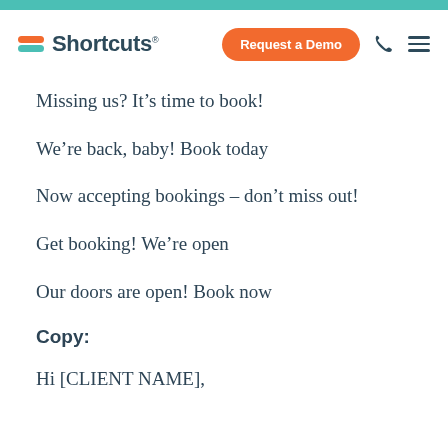Shortcuts — Request a Demo
Missing us? It’s time to book!
We’re back, baby! Book today
Now accepting bookings – don’t miss out!
Get booking! We’re open
Our doors are open! Book now
Copy:
Hi [CLIENT NAME],